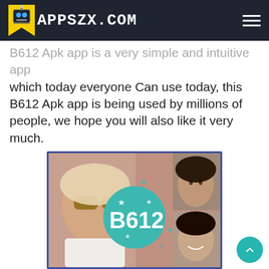APPSZX.COM
B612 Apk app is a very simple and intuitive app which today everyone Can use today, this B612 Apk app is being used by millions of people, we hope you will also like it very much.
[Figure (photo): B612 app promotional image showing multiple women's selfies with the B612 logo (teal circle with stars) in the center]
How to install B612 Apk.
You can also download B612 Apk from the play store. But from the link given in our side, you can download how to install below.